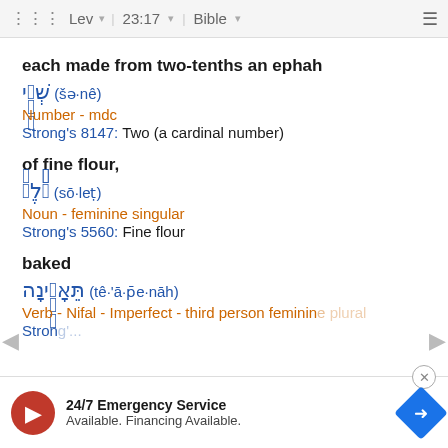Lev 23:17 Bible
each made from two-tenths an ephah
שְׁנֵי (šə·nê)
Number - mdc
Strong's 8147: Two (a cardinal number)
of fine flour,
סֹלֶת (sō·leṭ)
Noun - feminine singular
Strong's 5560: Fine flour
baked
תֵּאָפֶינָה (tê·'ā·p̄e·nāh)
Verb - Nifal - Imperfect - third person feminine plural
[Figure (screenshot): Advertisement banner: 24/7 Emergency Service Available. Financing Available.]